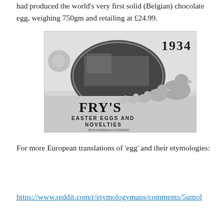had produced the world's very first solid (Belgian) chocolate egg, weighing 750gm and retailing at £24.99.
[Figure (photo): Black and white vintage advertisement from 1934 for Fry's Easter Eggs and Novelties from Somerdale in Somerset, featuring ducklings and the year 1934.]
For more European translations of 'egg' and their etymologies:
https://www.reddit.com/r/etymologymaps/comments/5umol